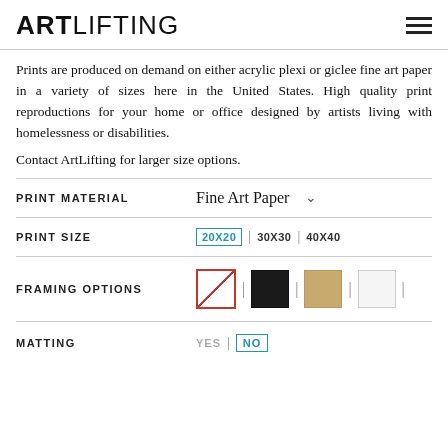ARTLIFTING
Prints are produced on demand on either acrylic plexi or giclee fine art paper in a variety of sizes here in the United States. High quality print reproductions for your home or office designed by artists living with homelessness or disabilities.
Contact ArtLifting for larger size options.
PRINT MATERIAL   Fine Art Paper
PRINT SIZE   20X20 | 30X30 | 40X40
FRAMING OPTIONS   [swatch: none] | [swatch: black] | [swatch: tan] | [swatch: white]
MATTING   YES | NO